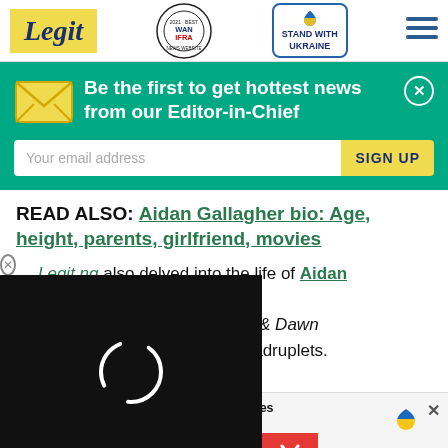[Figure (logo): Legit.ng website header with Legit logo, WAN-IFRA 2021 Best News Website in Africa award badge, Stand with Ukraine button, and hamburger menu]
Be the first to get hottest news from our Editor-in-Chief
Your email address
SIGN UP
READ ALSO: Aidan Gallagher bio: Age, height, parents, girlfriend, movies
Legit.ng also delved into the life of Aidan Gallagher. Aidan ... Nicky, Ricky, D*cky & Dawn ... rred as one of the quadruplets. ... Netflix hit series The Umbrella ... n is also passionate about ... aged in various
Help Protect Ukrainian Families DONATE NOW